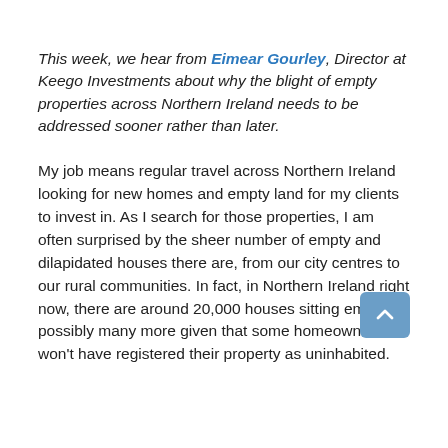This week, we hear from Eimear Gourley, Director at Keego Investments about why the blight of empty properties across Northern Ireland needs to be addressed sooner rather than later.
My job means regular travel across Northern Ireland looking for new homes and empty land for my clients to invest in. As I search for those properties, I am often surprised by the sheer number of empty and dilapidated houses there are, from our city centres to our rural communities. In fact, in Northern Ireland right now, there are around 20,000 houses sitting empty – possibly many more given that some homeowners won't have registered their property as uninhabited.